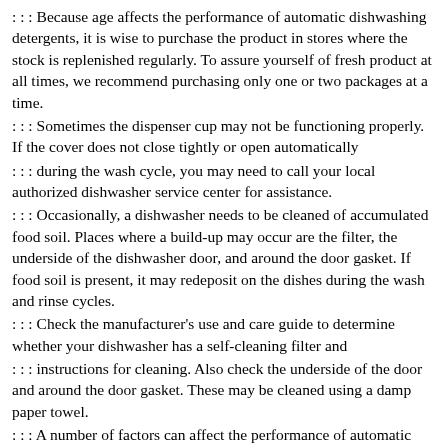: : : Because age affects the performance of automatic dishwashing detergents, it is wise to purchase the product in stores where the stock is replenished regularly. To assure yourself of fresh product at all times, we recommend purchasing only one or two packages at a time.
: : : Sometimes the dispenser cup may not be functioning properly. If the cover does not close tightly or open automatically
: : : during the wash cycle, you may need to call your local authorized dishwasher service center for assistance.
: : : Occasionally, a dishwasher needs to be cleaned of accumulated food soil. Places where a build-up may occur are the filter, the underside of the dishwasher door, and around the door gasket. If food soil is present, it may redeposit on the dishes during the wash and rinse cycles.
: : : Check the manufacturer's use and care guide to determine whether your dishwasher has a self-cleaning filter and
: : : instructions for cleaning. Also check the underside of the door and around the door gasket. These may be cleaned using a damp paper towel.
: : : A number of factors can affect the performance of automatic dishwashers. Many times, dishwashing problems can be resolved by reviewing the following suggestions. Proper loading is important to provide maximum cleaning. For best results, follow the instructions in your dishwasher
: : : manufacturer's use and care manual for proper loading. When preparing dishes to be placed in the dishwasher, it is not